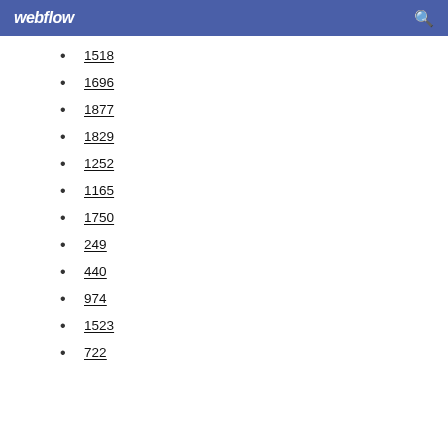webflow
1518
1696
1877
1829
1252
1165
1750
249
440
974
1523
722